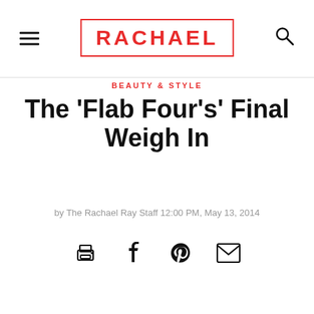RACHAEL
BEAUTY & STYLE
The 'Flab Four's' Final Weigh In
by The Rachael Ray Staff 12:00 PM, May 13, 2014
[Figure (infographic): Social sharing icons: print, facebook, pinterest, email]